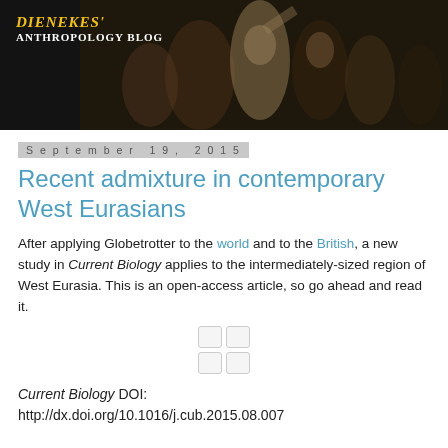[Figure (photo): Header banner for Dienekes' Anthropology Blog showing a classical painting of ancient Greek figures on a dark background, with blog name in yellow/white text overlay]
September 19, 2015
Recent admixture in contemporary West Eurasians
After applying Globetrotter to the world and to the British, a new study in Current Biology applies to the intermediately-sized region of West Eurasia. This is an open-access article, so go ahead and read it.
[Figure (other): Social sharing icon buttons (two rows of two small box icons)]
Current Biology DOI: http://dx.doi.org/10.1016/j.cub.2015.08.007